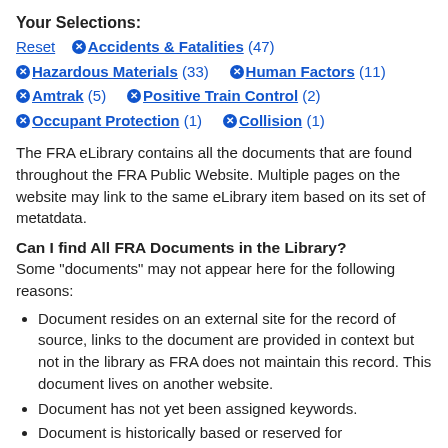Your Selections:
Reset  ✕ Accidents & Fatalities (47)
✕ Hazardous Materials (33)  ✕ Human Factors (11)
✕ Amtrak (5)  ✕ Positive Train Control (2)
✕ Occupant Protection (1)  ✕ Collision (1)
The FRA eLibrary contains all the documents that are found throughout the FRA Public Website. Multiple pages on the website may link to the same eLibrary item based on its set of metatdata.
Can I find All FRA Documents in the Library?
Some "documents" may not appear here for the following reasons:
Document resides on an external site for the record of source, links to the document are provided in context but not in the library as FRA does not maintain this record. This document lives on another website.
Document has not yet been assigned keywords.
Document is historically based or reserved for...